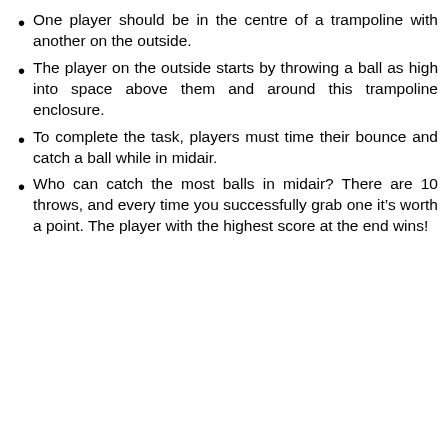One player should be in the centre of a trampoline with another on the outside.
The player on the outside starts by throwing a ball as high into space above them and around this trampoline enclosure.
To complete the task, players must time their bounce and catch a ball while in midair.
Who can catch the most balls in midair? There are 10 throws, and every time you successfully grab one it's worth a point. The player with the highest score at the end wins!